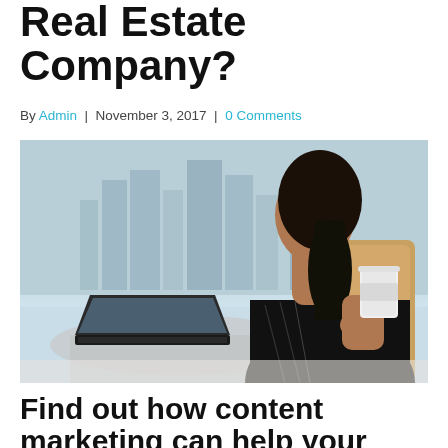Real Estate Company?
By Admin | November 3, 2017 | 0 Comments
[Figure (photo): A woman with dark hair sitting in a leather chair, viewed from behind, holding a white coffee cup and looking out at a city skyline through large windows. A laptop is open on the glass table in front of her.]
Find out how content marketing can help your